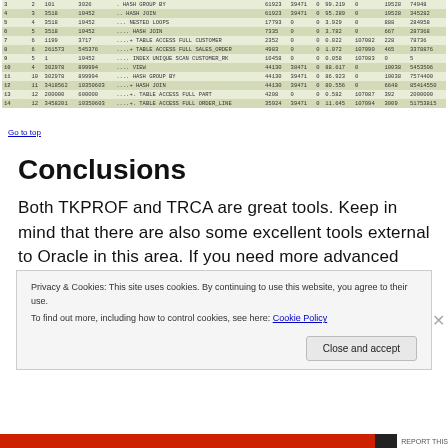|  |  |  | Operation |  |  |  |  |  |  |  |  |
| --- | --- | --- | --- | --- | --- | --- | --- | --- | --- | --- | --- |
| 3 | 2 | 101 | 3026 | . HASH GROUP BY | 61923 | 39471 | 0 | 99.219 | 0 | 19528 | 74948 |
| 4 | 3 | 3518 | 10452 | .. HASH JOIN | 61923 | 39471 | 0 | 95.289 | 0 | 19528 | 345282 |
| 5 | 4 | 3518 | 10452 | ... NESTED LOOPS | 17793 | 0 | 0 | 3.929 | 0 | 888 | 284958 |
| 6 | 5 | 3518 | 10452 | .... HASH JOIN | 7335 | 0 | 0 | 3.782 | 0 | 667 | 287368 |
| 7 | 6 | 1199 | 3717 | ....+ TABLE ACCESS FULL CUSTOMER | 2352 | 0 | 0 | 0.022 | 107082 | 228 | 78736 |
| 8 | 6 | 261573 | 545376 | ....+ TABLE ACCESS FULL SALES_ORDER | 4983 | 0 | 0 | 1.072 | 107090 | 465 | 3378876 |
| 9 | 5 | 1 | 10452 | .... INDEX UNIQUE SCAN CUSTOMER_RK | 10458 | 0 | 0 | 0.058 | 107083 | 0 | 5 |
| 10 | 4 | 302978 | 899994 | .... VIEW | 44130 | 38471 | 0 | 88.617 | 0 | 10038 | 5453506 |
| 11 | 10 | 302978 | 899994 | .... HASH GROUP BY | 44130 | 39471 | 0 | 86.923 | 0 | 10038 | 7574400 |
| 12 | 11 | 3418562 | 10350603 | ....+ HASH JOIN | 44130 | 39471 | 0 | 80.556 | 0 | 6648 | 85414550 |
| 13 | 12 | 200000 | 600000 | ....+. TABLE ACCESS FULL PART | 4208 | 0 | 0 | 0.582 | 107087 | 392 | 2000000 |
| 14 | 12 | 3458201 | 10350603 | ....+. TABLE ACCESS FULL ORDER_LINE | 35924 | 39471 | 0 | 11.645 | 107094 | 3009 | 51753815 |
Go to top
Conclusions
Both TKPROF and TRCA are great tools. Keep in mind that there are also some excellent tools external to Oracle in this area. If you need more advanced functionality than
Privacy & Cookies: This site uses cookies. By continuing to use this website, you agree to their use.
To find out more, including how to control cookies, see here: Cookie Policy
Close and accept